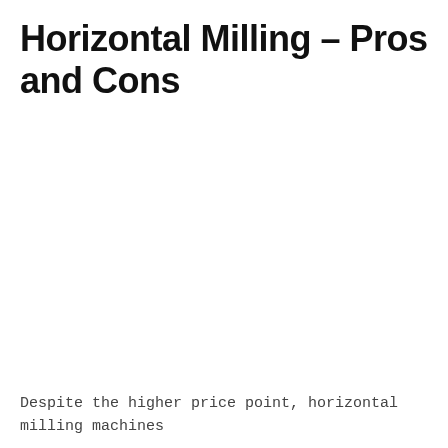Horizontal Milling – Pros and Cons
Despite the higher price point, horizontal milling machines